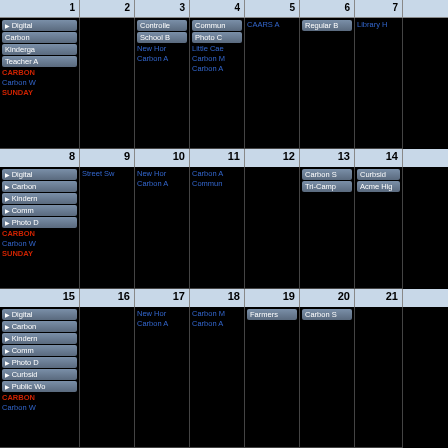| 1 | 2 | 3 | 4 | 5 | 6 | 7 |
| --- | --- | --- | --- | --- | --- | --- |
| Digital, Carbon, Kinderga, Teacher A, CARBON, Carbon W, SUNDAY |  | Controlle, School B, New Hor, Carbon A | Commun, Photo C, Little Cae, Carbon M, Carbon A | CAARS A | Regular B | Library H |
|  | 8 | 9 | 10 | 11 | 12 | 13 | 14 |
| Digital, Carbon, Kindern, Comm, Photo D, CARBON, Carbon W, SUNDAY | Street Sw | New Hor, Carbon A | Carbon A, Commun |  | Carbon S, Tri-Camp | Curbsid, Acme Hig |
|  | 15 | 16 | 17 | 18 | 19 | 20 | 21 |
| Digital, Carbon, Kindern, Comm, Photo D, Curbsid, Public Wo, CARBON, Carbon W |  | New Hor, Carbon A | Carbon M, Carbon A | Farmers | Carbon S |  |